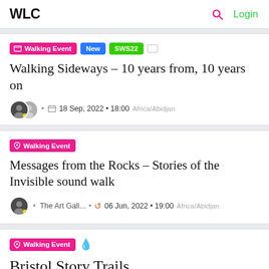WLC  🔍  Login
Walking Event | New | SWS22 | Walking Sideways – 10 years from, 10 years on | 18 Sep, 2022 • 18:00 Africa/Abidjan
Walking Event | Messages from the Rocks – Stories of the Invisible sound walk | The Art Gall... • 06 Jun, 2022 • 19:00 Africa/Abidjan
Walking Event | Bristol Story Trails | Story-Trails... • 20 Aug, 2022 • All day